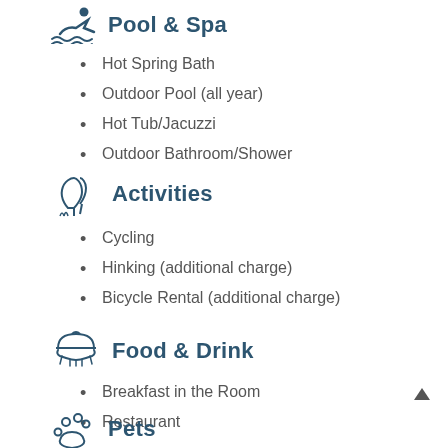Pool & Spa
Hot Spring Bath
Outdoor Pool (all year)
Hot Tub/Jacuzzi
Outdoor Bathroom/Shower
Activities
Cycling
Hinking (additional charge)
Bicycle Rental (additional charge)
Food & Drink
Breakfast in the Room
Restaurant
Pets